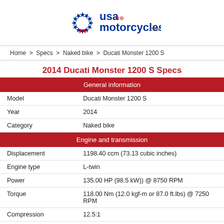[Figure (logo): USA Motorcycles .com logo with stars circle on the left and blue/red text]
Home > Specs > Naked bike > Ducati Monster 1200 S
2014 Ducati Monster 1200 S Specs
| General information |  |
| Model | Ducati Monster 1200 S |
| Year | 2014 |
| Category | Naked bike |
| Engine and transmission |  |
| Displacement | 1198.40 ccm (73.13 cubic inches) |
| Engine type | L-twin |
| Power | 135.00 HP (98.5 kW)) @ 8750 RPM |
| Torque | 118.00 Nm (12.0 kgf-m or 87.0 ft.lbs) @ 7250 RPM |
| Compression | 12.5:1 |
| Bore x stroke | 106.0 x 67.9 mm (4.2 x 2.7 inches) |